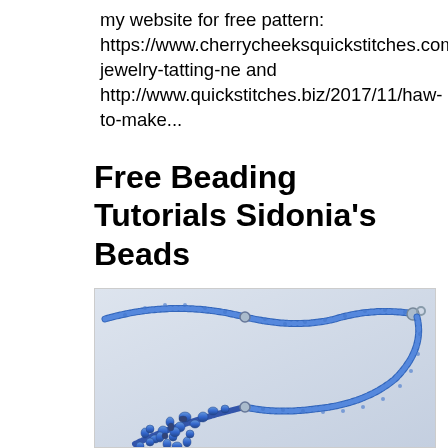my website for free pattern: https://www.cherrycheeksquickstitches.com/handmade-jewelry-tatting-ne and http://www.quickstitches.biz/2017/11/haw-to-make...
Free Beading Tutorials Sidonia's Beads
[Figure (photo): Photo of a blue beaded necklace with intricate beadwork pendant/edging and a rope chain, with the word 'Tutorial' in italic text in the upper right area of the image.]